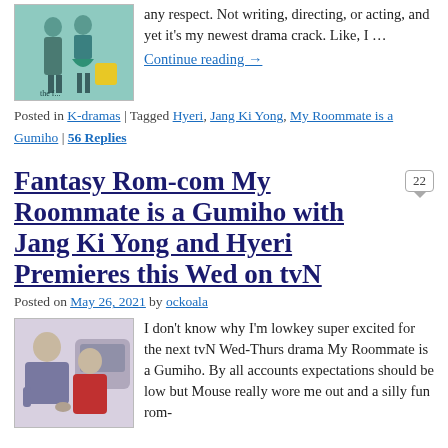[Figure (photo): Promotional photo for a K-drama, showing two people standing together, teal/mint background color]
any respect. Not writing, directing, or acting, and yet it's my newest drama crack. Like, I …
Continue reading →
Posted in K-dramas | Tagged Hyeri, Jang Ki Yong, My Roommate is a Gumiho | 56 Replies
Fantasy Rom-com My Roommate is a Gumiho with Jang Ki Yong and Hyeri Premieres this Wed on tvN
Posted on May 26, 2021 by ockoala
[Figure (photo): Promotional photo for My Roommate is a Gumiho, showing a man and woman sitting together outdoors]
I don't know why I'm lowkey super excited for the next tvN Wed-Thurs drama My Roommate is a Gumiho. By all accounts expectations should be low but Mouse really wore me out and a silly fun rom-